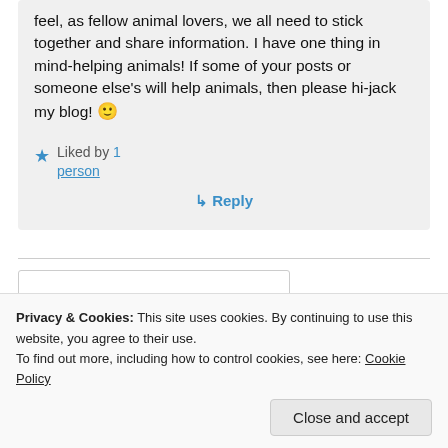feel, as fellow animal lovers, we all need to stick together and share information. I have one thing in mind-helping animals! If some of your posts or someone else's will help animals, then please hi-jack my blog! 🙂
★ Liked by 1 person
↳ Reply
Privacy & Cookies: This site uses cookies. By continuing to use this website, you agree to their use.
To find out more, including how to control cookies, see here: Cookie Policy
Close and accept